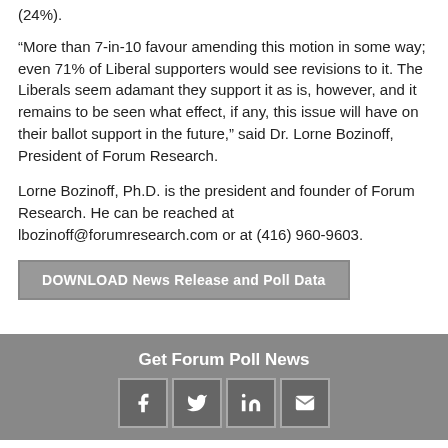(24%).
“More than 7-in-10 favour amending this motion in some way; even 71% of Liberal supporters would see revisions to it. The Liberals seem adamant they support it as is, however, and it remains to be seen what effect, if any, this issue will have on their ballot support in the future,” said Dr. Lorne Bozinoff, President of Forum Research.
Lorne Bozinoff, Ph.D. is the president and founder of Forum Research. He can be reached at lbozinoff@forumresearch.com or at (416) 960-9603.
DOWNLOAD News Release and Poll Data
Get Forum Poll News
© Copyright 2001–2016 by Forum Research Inc. All Rights Reserved.
Contact Us | Do Not Call | Corporate Responsibility | Privacy Policy | Terms of Service